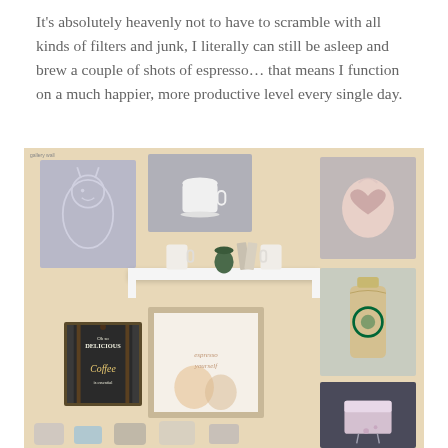It's absolutely heavenly not to have to scramble with all kinds of filters and junk, I literally can still be asleep and brew a couple of shots of espresso... that means I function on a much happier, more productive level every single day.
[Figure (photo): A decorative coffee-themed gallery wall on a warm beige wall. Contains several painted canvases (a horse/giraffe line drawing, a white coffee cup on grey, a latte art heart swirl, a Starbucks cup, a small dessert/cake illustration), a white floating shelf with coffee mugs and a small succulent, a distressed-frame print with 'espresso yourself' text, a chalkboard sign reading 'Oh so DELICIOUS Coffee is essential', and a bottom row of coffee-related items.]